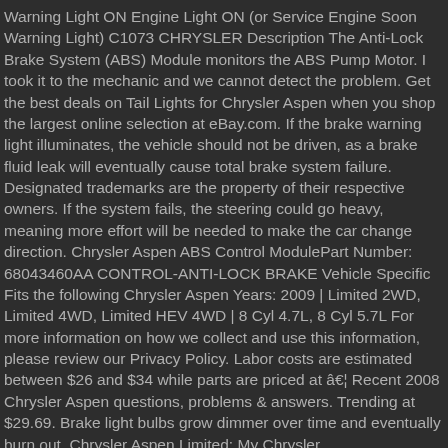Warning Light ON Engine Light ON (or Service Engine Soon Warning Light) C1073 CHRYSLER Description The Anti-Lock Brake System (ABS) Module monitors the ABS Pump Motor. I took it to the mechanic and we cannot detect the problem. Get the best deals on Tail Lights for Chrysler Aspen when you shop the largest online selection at eBay.com. If the brake warning light illuminates, the vehicle should not be driven, as a brake fluid leak will eventually cause total brake system failure. Designated trademarks are the property of their respective owners. If the system fails, the steering could go heavy, meaning more effort will be needed to make the car change direction. Chrysler Aspen ABS Control ModulePart Number: 68043460AA CONTROL-ANTI-LOCK BRAKE Vehicle Specific Fits the following Chrysler Aspen Years: 2009 | Limited 2WD, Limited 4WD, Limited HEV 4WD | 8 Cyl 4.7L, 8 Cyl 5.7L For more information on how we collect and use this information, please review our Privacy Policy. Labor costs are estimated between $26 and $34 while parts are priced at â€¦ Recent 2008 Chrysler Aspen questions, problems & answers. Trending at $29.69. Brake light bulbs grow dimmer over time and eventually burn out. Chrysler Aspen Limited: My Chrysler